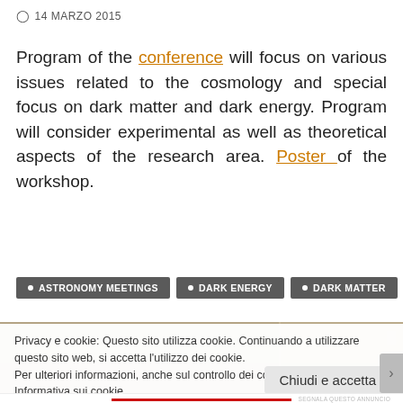14 MARZO 2015
Program of the conference will focus on various issues related to the cosmology and special focus on dark matter and dark energy. Program will consider experimental as well as theoretical aspects of the research area. Poster of the workshop.
ASTRONOMY MEETINGS
DARK ENERGY
DARK MATTER
[Figure (photo): Photo strip of a conference or event venue]
Privacy e cookie: Questo sito utilizza cookie. Continuando a utilizzare questo sito web, si accetta l'utilizzo dei cookie.
Per ulteriori informazioni, anche sul controllo dei cookie, leggi qui:
Informativa sui cookie
Chiudi e accetta